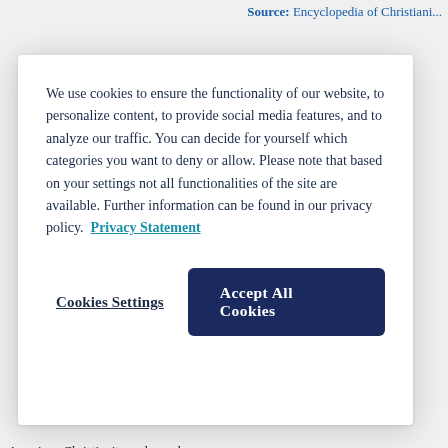Source: Encyclopedia of Christiani...
We use cookies to ensure the functionality of our website, to personalize content, to provide social media features, and to analyze our traffic. You can decide for yourself which categories you want to deny or allow. Please note that based on your settings not all functionalities of the site are available. Further information can be found in our privacy policy.  Privacy Statement
Cookies Settings
Accept All Cookies
American Christianity and popular... adults in the United States professe... expressed and lived has shifted dra... "spirituality" is a catchword for suc... religious" defines large numbers of... generations. And people...
Source: Encyclopedia of Christiani...